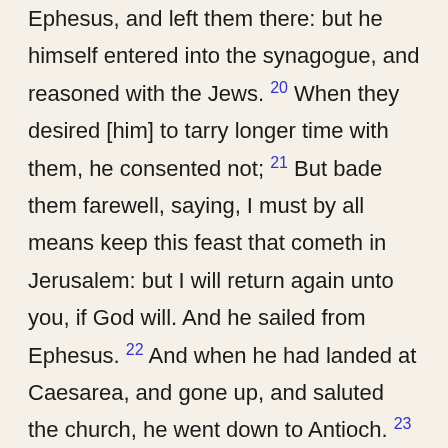Ephesus, and left them there: but he himself entered into the synagogue, and reasoned with the Jews. 20 When they desired [him] to tarry longer time with them, he consented not; 21 But bade them farewell, saying, I must by all means keep this feast that cometh in Jerusalem: but I will return again unto you, if God will. And he sailed from Ephesus. 22 And when he had landed at Caesarea, and gone up, and saluted the church, he went down to Antioch. 23 And after he had spent some time [there,] he departed, and went over [all] the country of Galatia and Phrygia in order, strengthening all the disciples. 24 And a certain Jew named Apollos, born at Alexandria, an eloquent man, [and] mighty in the scriptures, came to Ephesus. 25 This man was instructed in the way of the Lord; and